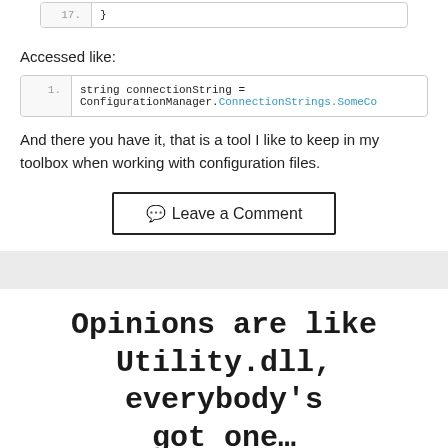[Figure (screenshot): Code block showing line 17 with closing brace]
Accessed like:
[Figure (screenshot): Code block line 1: string connectionString = ConfigurationManager.ConnectionStrings.SomeCo]
And there you have it, that is a tool I like to keep in my toolbox when working with configuration files.
[Figure (other): Leave a Comment button with speech bubble icon]
Opinions are like Utility.dll, everybody's got one...